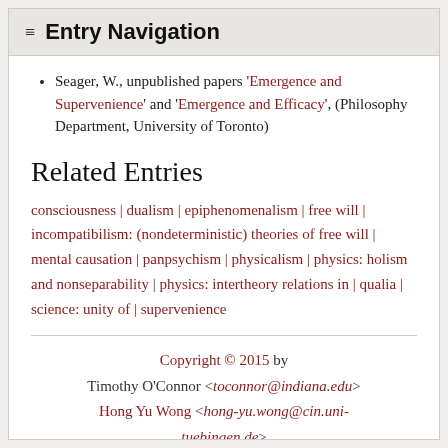≡ Entry Navigation
Seager, W., unpublished papers 'Emergence and Supervenience' and 'Emergence and Efficacy', (Philosophy Department, University of Toronto)
Related Entries
consciousness | dualism | epiphenomenalism | free will | incompatibilism: (nondeterministic) theories of free will | mental causation | panpsychism | physicalism | physics: holism and nonseparability | physics: intertheory relations in | qualia | science: unity of | supervenience
Copyright © 2015 by Timothy O'Connor <toconnor@indiana.edu> Hong Yu Wong <hong-yu.wong@cin.uni-tuebingen.de>